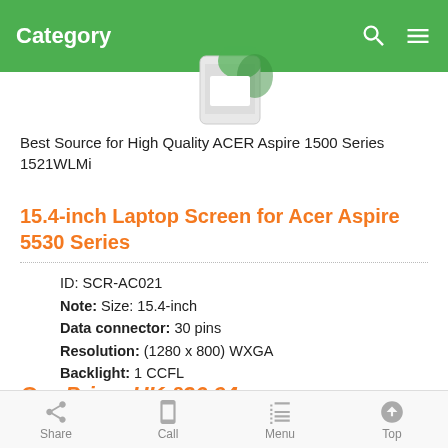Category
Best Source for High Quality ACER Aspire 1500 Series 1521WLMi
15.4-inch Laptop Screen for Acer Aspire 5530 Series
ID: SCR-AC021
Note: Size: 15.4-inch
Data connector: 30 pins
Resolution: (1280 x 800) WXGA
Backlight: 1 CCFL
Surface: Glossy
Aspect Ratio: Wide (16:10)
Screen Type: Thin-film transistor (TFT) Active-matrix Liquid Crystal Display (LCD)
Our Price: UK £36.94
Share  Call  Menu  Top